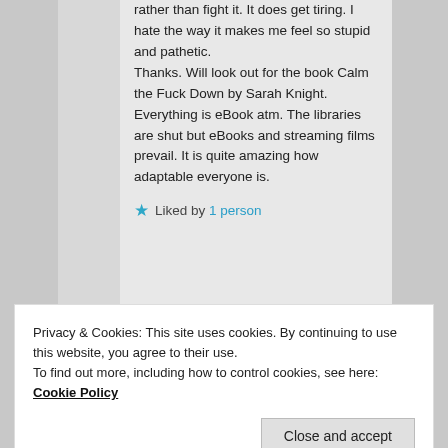rather than fight it. It does get tiring. I hate the way it makes me feel so stupid and pathetic.
Thanks. Will look out for the book Calm the Fuck Down by Sarah Knight.
Everything is eBook atm. The libraries are shut but eBooks and streaming films prevail. It is quite amazing how adaptable everyone is.
★ Liked by 1 person
Privacy & Cookies: This site uses cookies. By continuing to use this website, you agree to their use.
To find out more, including how to control cookies, see here: Cookie Policy
Close and accept
I haven't suffered from depression